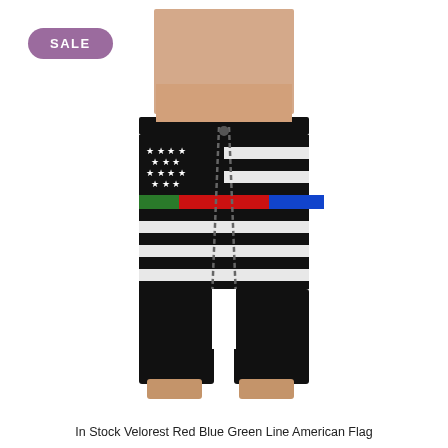[Figure (photo): A man wearing board shorts printed with an American flag pattern in black, white, red, green, and blue (thin line flag). The shorts feature a black and white flag design with stars on the left half and horizontal stripes on the right, with a prominent red stripe and green and blue accents. The model is shown from the waist to mid-thigh. A SALE badge appears in the upper left corner.]
In Stock Velorest Red Blue Green Line American Flag